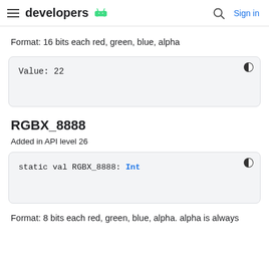developers  Sign in
Format: 16 bits each red, green, blue, alpha
[Figure (screenshot): Code box with monospace text: Value: 22, with a theme toggle icon in top right]
RGBX_8888
Added in API level 26
[Figure (screenshot): Code box with monospace text: static val RGBX_8888: Int, with a theme toggle icon in top right]
Format: 8 bits each red, green, blue, alpha. alpha is always